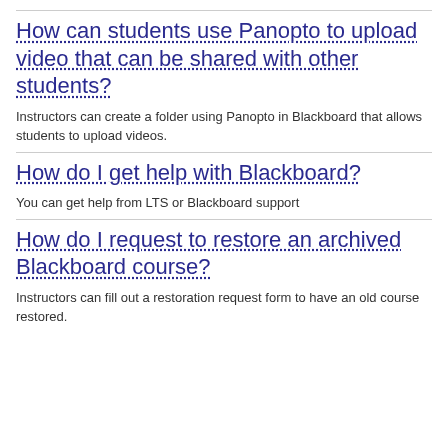How can students use Panopto to upload video that can be shared with other students?
Instructors can create a folder using Panopto in Blackboard that allows students to upload videos.
How do I get help with Blackboard?
You can get help from LTS or Blackboard support
How do I request to restore an archived Blackboard course?
Instructors can fill out a restoration request form to have an old course restored.